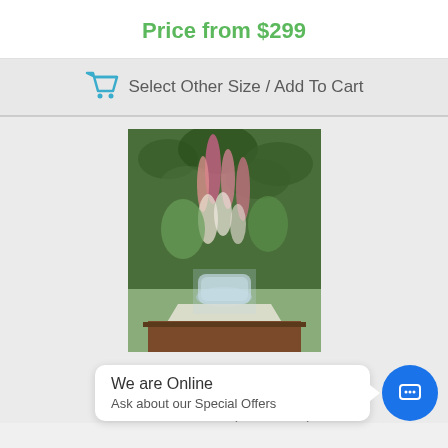Price from $299
Select Other Size / Add To Cart
[Figure (photo): Painting of Still Life with Flowers c1900 by John Henry Twachtman — a floral arrangement in a glass vase on a table with impressionist style]
Still Life with Flowers c1900
By John Henry Twachtman
Size 75 x 61 cm (29.5 x 24.0")
We are Online
Ask about our Special Offers